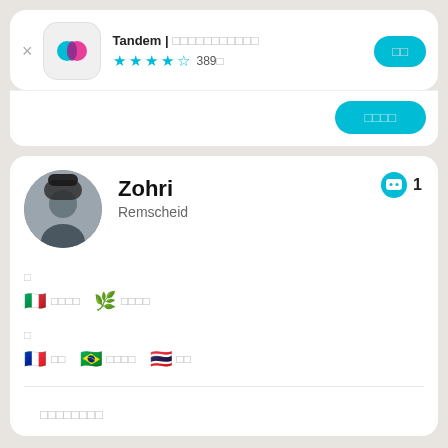Tandem | ããããããããããã
★★★★☆ 389件
インストール
Zohri
Remscheid
❤ 1
ネイティブ
イタリア語 アラビア語
学習中
フランス語 ポルトガル語 タイ語
自己紹介文